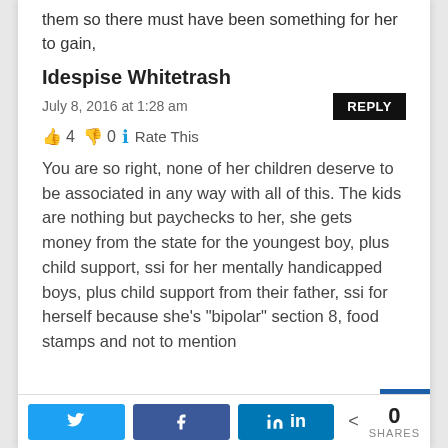clearly she does not give a shit about any of them so there must have been something for her to gain,
Idespise Whitetrash
July 8, 2016 at 1:28 am
👍 4 👎 0 ℹ Rate This
You are so right, none of her children deserve to be associated in any way with all of this. The kids are nothing but paychecks to her, she gets money from the state for the youngest boy, plus child support, ssi for her mentally handicapped boys, plus child support from their father, ssi for herself because she's "bipolar" section 8, food stamps and not to mention
Twitter  Facebook  LinkedIn  0 SHARES